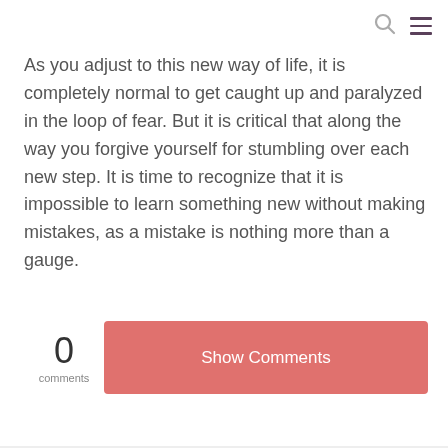As you adjust to this new way of life, it is completely normal to get caught up and paralyzed in the loop of fear. But it is critical that along the way you forgive yourself for stumbling over each new step. It is time to recognize that it is impossible to learn something new without making mistakes, as a mistake is nothing more than a gauge.
0 comments
Show Comments